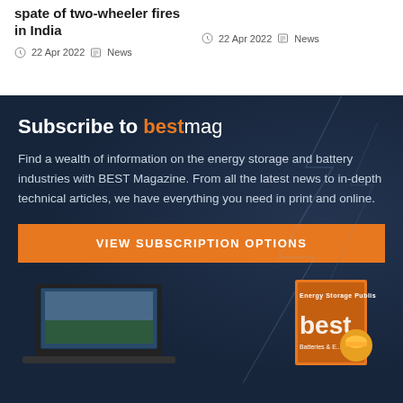spate of two-wheeler fires in India
22 Apr 2022   News
22 Apr 2022   News
Subscribe to bestmag
Find a wealth of information on the energy storage and battery industries with BEST Magazine. From all the latest news to in-depth technical articles, we have everything you need in print and online.
VIEW SUBSCRIPTION OPTIONS
[Figure (photo): Laptop and magazine cover showing BEST magazine in the subscription banner]